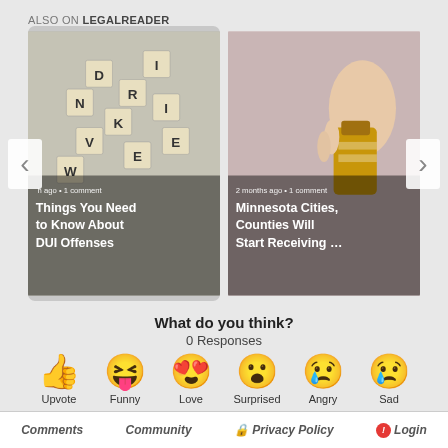ALSO ON LEGALREADER
[Figure (photo): Card 1: Scrabble tiles spelling out DUI-related words on a surface with a gavel. Title: Things You Need to Know About DUI Offenses. Meta: [partial] ago · 1 comment]
[Figure (photo): Card 2: Hand holding a medicine/pill bottle against pink background. Title: Minnesota Cities, Counties Will Start Receiving … Meta: 2 months ago · 1 comment]
What do you think?
0 Responses
[Figure (infographic): Six reaction emojis in a row: thumbs up (Upvote), grinning face with tongue (Funny), heart eyes (Love), surprised face (Surprised), crying face (Angry), sad face with tear (Sad)]
Comments   Community   Privacy Policy   Login